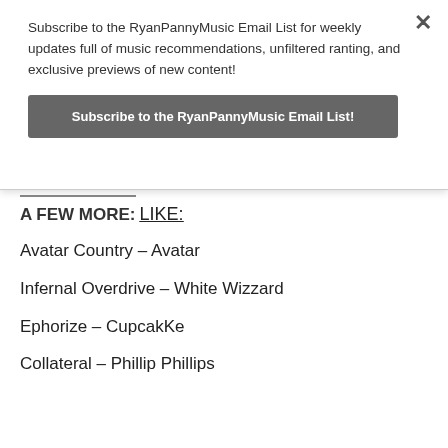Subscribe to the RyanPannyMusic Email List for weekly updates full of music recommendations, unfiltered ranting, and exclusive previews of new content!
Subscribe to the RyanPannyMusic Email List!
A FEW MORE:
LIKE:
Avatar Country – Avatar
Infernal Overdrive – White Wizzard
Ephorize – CupcakKe
Collateral – Phillip Phillips